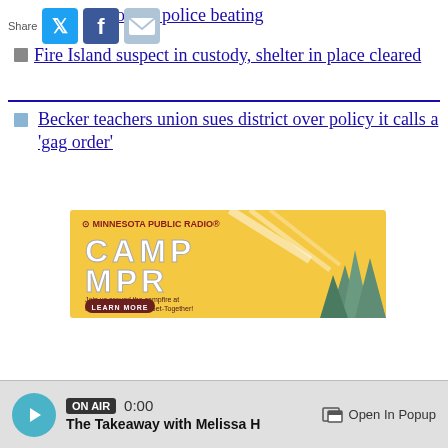Video shows a police beating
Fire Island suspect in custody, shelter in place cleared
Becker teachers union sues district over policy it calls a 'gag order'
[Figure (illustration): Camp MPR advertisement for Minnesota Public Radio. Yellow background with stylized camp-lettered text reading CAMP MPR. Tagline: Join us around the campfire at the Great Minnesota Get-Together! with a LEARN MORE button. Trees illustrated on the right side.]
ON AIR  0:00  The Takeaway with Melissa H   Open In Popup